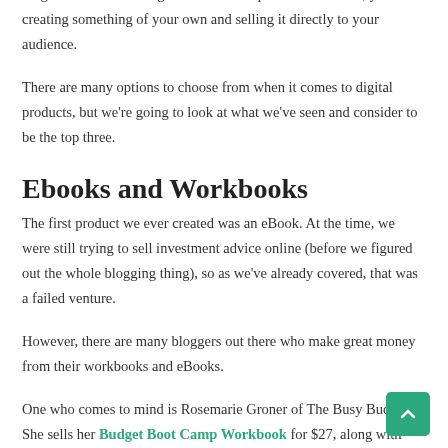blog. Rather than selling someone else's product or service, you're creating something of your own and selling it directly to your audience.
There are many options to choose from when it comes to digital products, but we're going to look at what we've seen and consider to be the top three.
Ebooks and Workbooks
The first product we ever created was an eBook. At the time, we were still trying to sell investment advice online (before we figured out the whole blogging thing), so as we've already covered, that was a failed venture.
However, there are many bloggers out there who make great money from their workbooks and eBooks.
One who comes to mind is Rosemarie Groner of The Busy Budgeter. She sells her Budget Boot Camp Workbook for $27, along with